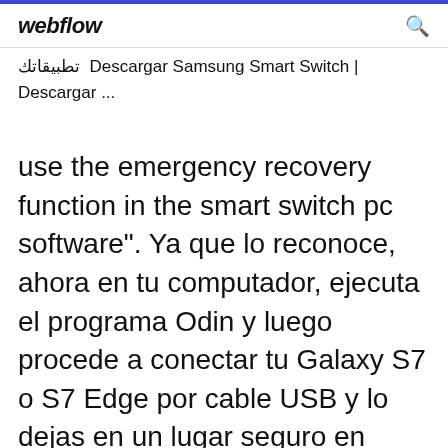webflow
تطبيقاتك Descargar Samsung Smart Switch | Descargar ...
use the emergency recovery function in the smart switch pc software". Ya que lo reconoce, ahora en tu computador, ejecuta el programa Odin y luego procede a conectar tu Galaxy S7 o S7 Edge por cable USB y lo dejas en un lugar seguro en donde no sea posible pasar a ll...